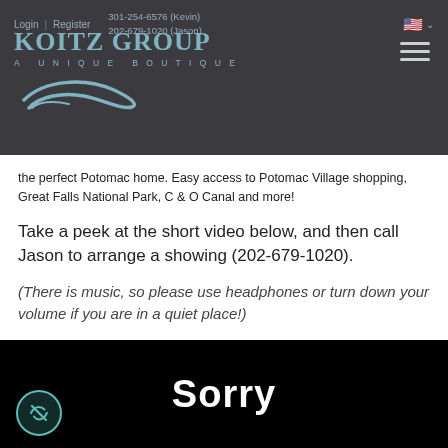[Figure (logo): Koitz Group website header with logo, navigation links (Login, Register), phone numbers (301-254-6576 Kevin, 202-679-1020 Jason), US flag icon, and hamburger menu]
the perfect Potomac home. Easy access to Potomac Village shopping, Great Falls National Park, C & O Canal and more!
Take a peek at the short video below, and then call Jason to arrange a showing (202-679-1020).
(There is music, so please use headphones or turn down your volume if you are in a quiet place!)
[Figure (screenshot): Black video player area showing the word 'Sorry' in white bold text, with a circular teal icon with an eye-slash symbol in the lower left]